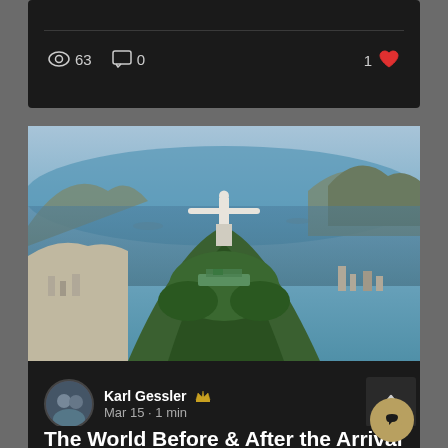63 views, 0 comments, 1 like
[Figure (photo): Aerial photo of Christ the Redeemer statue on Corcovado mountain in Rio de Janeiro, Brazil, with Guanabara Bay and Sugarloaf Mountain in the background]
Karl Gessler • Mar 15 • 1 min
The World Before & After the Arrival of God's Kingdom